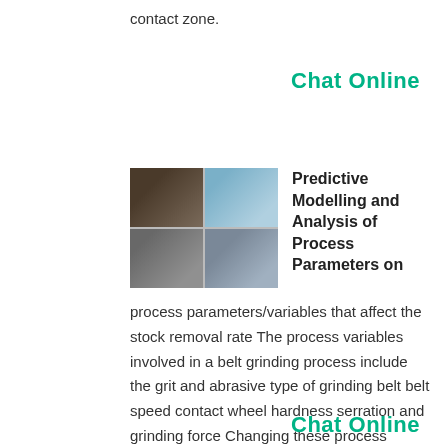contact zone.
Chat Online
[Figure (photo): Four-panel collage of industrial grinding/milling equipment]
Predictive Modelling and Analysis of Process Parameters on
process parameters/variables that affect the stock removal rate The process variables involved in a belt grinding process include the grit and abrasive type of grinding belt belt speed contact wheel hardness serration and grinding force Changing these process variables will affect the performance of the process.
Chat Online